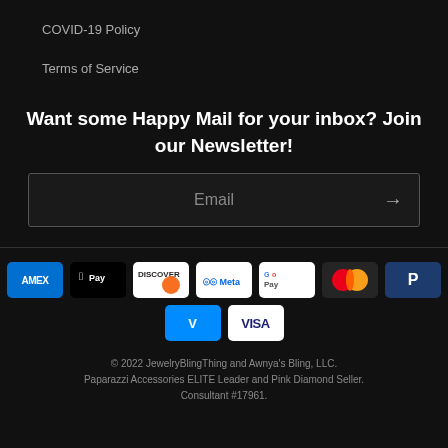COVID-19 Policy
Terms of Service
Want some Happy Mail for your inbox? Join our Newsletter!
Email
[Figure (other): Payment method icons: American Express, Apple Pay, Discover, Meta Pay, Google Pay, Mastercard, PayPal, Venmo, Visa]
© 2022 JewelryBlingThing and Awnya's Bling, LLC. Paparazzi Accessories ELITE Leader and Pink Diamond Seller. Consultant #17961.